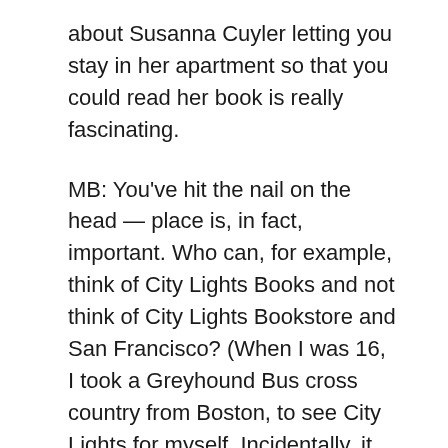about Susanna Cuyler letting you stay in her apartment so that you could read her book is really fascinating.
MB: You've hit the nail on the head — place is, in fact, important. Who can, for example, think of City Lights Books and not think of City Lights Bookstore and San Francisco? (When I was 16, I took a Greyhound Bus cross country from Boston, to see City Lights for myself. Incidentally, it was the first bookshop that I ever encountered that provided its own map for the purposes of navigating its offerings.) Likewise, Shakespeare & Co. and Paris. And on. One of the main reasons that I began submitting poetry to The Smith was that I was intrigued by its address: